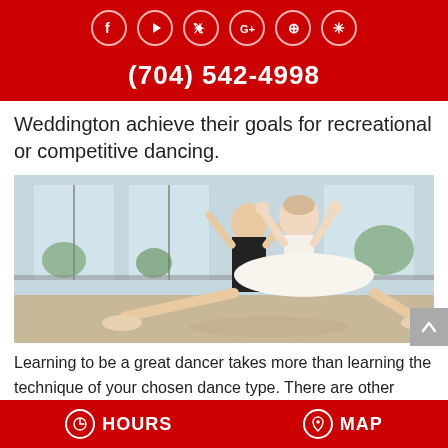Social icons and phone number (704) 542-4998
Weddington achieve their goals for recreational or competitive dancing.
[Figure (photo): Ballet dancer in white tutu doing a split on the floor in a dance studio, with a teacher in black behind her.]
Learning to be a great dancer takes more than learning the technique of your chosen dance type. There are other activities that are needed to support the dancer to enable the best
HOURS   MAP